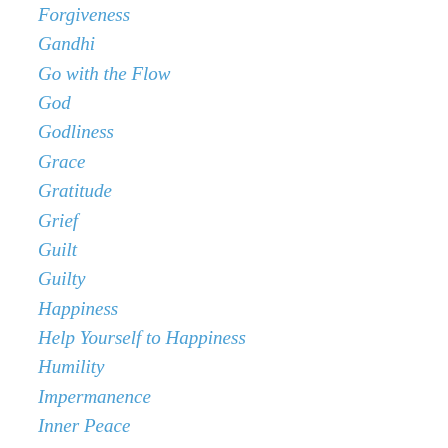Forgiveness
Gandhi
Go with the Flow
God
Godliness
Grace
Gratitude
Grief
Guilt
Guilty
Happiness
Help Yourself to Happiness
Humility
Impermanence
Inner Peace
Insecurity
Integrity of Purpose
Intelligent Living
Joy
Let Go